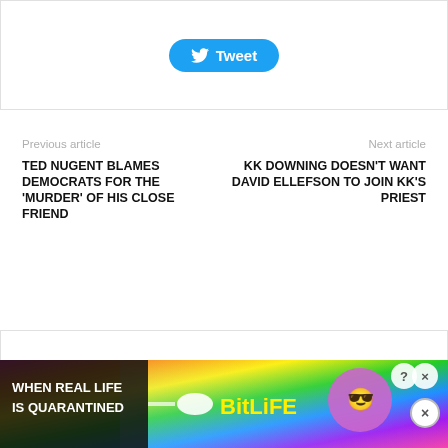[Figure (other): Tweet button box at top of page]
Previous article
Next article
TED NUGENT BLAMES DEMOCRATS FOR THE 'MURDER' OF HIS CLOSE FRIEND
KK DOWNING DOESN'T WANT DAVID ELLEFSON TO JOIN KK'S PRIEST
[Figure (other): Advertisement banner: BitLife - When Real Life Is Quarantined]